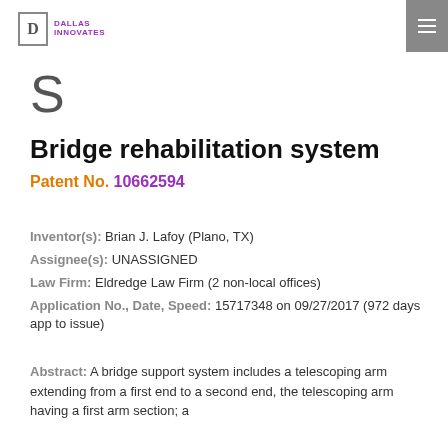Dallas Innovates
S
Bridge rehabilitation system
Patent No. 10662594
Inventor(s): Brian J. Lafoy (Plano, TX)
Assignee(s): UNASSIGNED
Law Firm: Eldredge Law Firm (2 non-local offices)
Application No., Date, Speed: 15717348 on 09/27/2017 (972 days app to issue)
Abstract: A bridge support system includes a telescoping arm extending from a first end to a second end, the telescoping arm having a first arm section; a